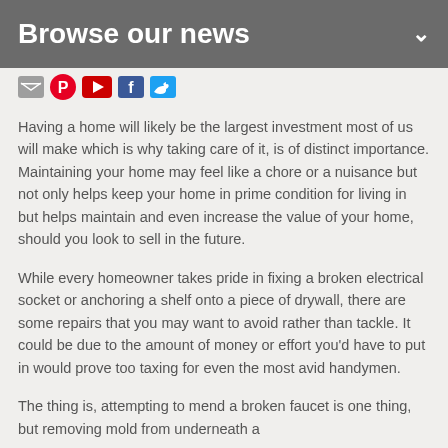Browse our news
[Figure (other): Row of social media sharing icons: email, Pinterest, YouTube, Facebook, Twitter]
Having a home will likely be the largest investment most of us will make which is why taking care of it, is of distinct importance. Maintaining your home may feel like a chore or a nuisance but not only helps keep your home in prime condition for living in but helps maintain and even increase the value of your home, should you look to sell in the future.
While every homeowner takes pride in fixing a broken electrical socket or anchoring a shelf onto a piece of drywall, there are some repairs that you may want to avoid rather than tackle. It could be due to the amount of money or effort you'd have to put in would prove too taxing for even the most avid handymen.
The thing is, attempting to mend a broken faucet is one thing, but removing mold from underneath a